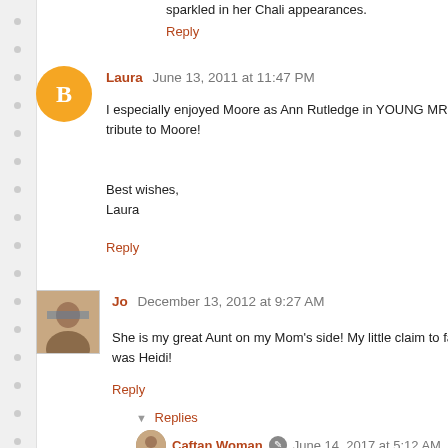sparkled in her Chali appearances.
Reply
Laura  June 13, 2011 at 11:47 PM
I especially enjoyed Moore as Ann Rutledge in YOUNG MR. tribute to Moore! Best wishes, Laura
Reply
Jo  December 13, 2012 at 9:27 AM
She is my great Aunt on my Mom's side! My little claim to fa was Heidi!
Reply
Replies
Caftan Woman  June 14, 2017 at 5:12 AM